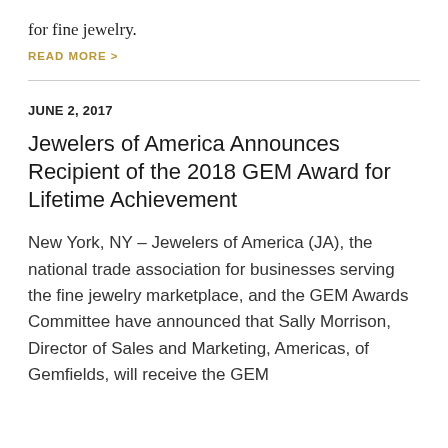for fine jewelry.
READ MORE >
JUNE 2, 2017
Jewelers of America Announces Recipient of the 2018 GEM Award for Lifetime Achievement
New York, NY – Jewelers of America (JA), the national trade association for businesses serving the fine jewelry marketplace, and the GEM Awards Committee have announced that Sally Morrison, Director of Sales and Marketing, Americas, of Gemfields, will receive the GEM